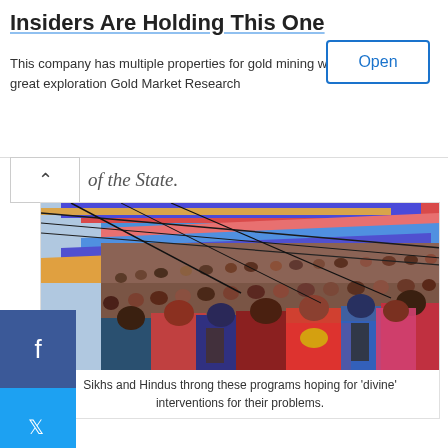Insiders Are Holding This One
This company has multiple properties for gold mining with great exploration Gold Market Research
of the State.
[Figure (photo): Large crowd of people gathered under colorful tent canopies, Sikhs and Hindus at a religious program.]
Sikhs and Hindus throng these programs hoping for 'divine' interventions for their problems.